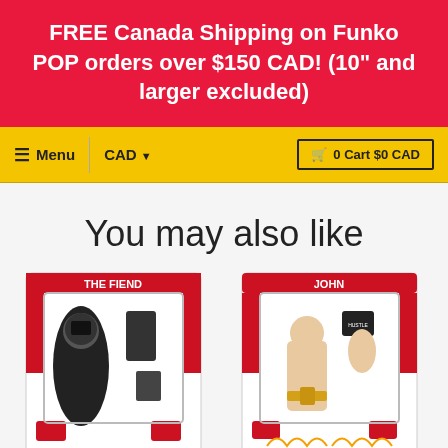FREE Canada Shipping on Funko POP orders over $150 CAD! (10" and larger excluded)
≡ Menu  CAD ▾   🛒 0 Cart $0 CAD
You may also like
[Figure (photo): WWE action figure box - The Fiend Bray Wyatt, red and white packaging with figure and accessories]
[Figure (photo): WWE action figure box - John Cena, red and white packaging with figure and accessories including championship belt]